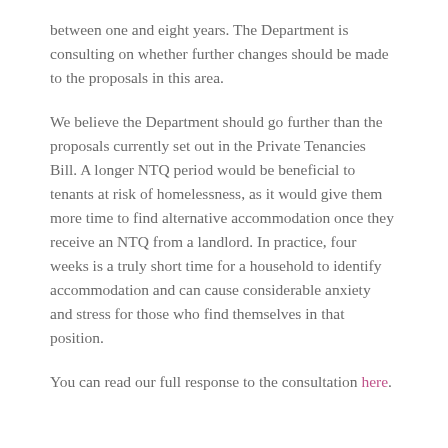between one and eight years. The Department is consulting on whether further changes should be made to the proposals in this area.
We believe the Department should go further than the proposals currently set out in the Private Tenancies Bill. A longer NTQ period would be beneficial to tenants at risk of homelessness, as it would give them more time to find alternative accommodation once they receive an NTQ from a landlord. In practice, four weeks is a truly short time for a household to identify accommodation and can cause considerable anxiety and stress for those who find themselves in that position.
You can read our full response to the consultation here.